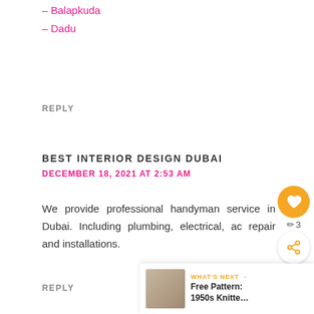- Balapkuda
- Dadu
REPLY
BEST INTERIOR DESIGN DUBAI
DECEMBER 18, 2021 AT 2:53 AM
We provide professional handyman service in Dubai. Including plumbing, electrical, ac repair and installations.
REPLY